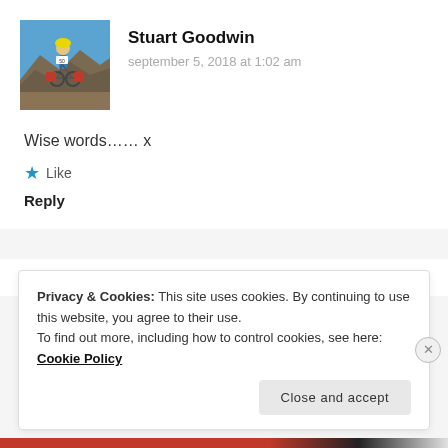[Figure (photo): Profile photo of Stuart Goodwin, a cyclist with a loaded bike, wearing a yellow helmet, in a mountainous landscape]
Stuart Goodwin
september 5, 2018 at 1:02 am
Wise words…… x
★ Like
Reply
Wolfgang Würz
Privacy & Cookies: This site uses cookies. By continuing to use this website, you agree to their use.
To find out more, including how to control cookies, see here: Cookie Policy
Close and accept